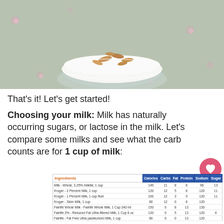[Figure (photo): Glass bowl of white yogurt topped with sliced almonds, on a floral blue-green tablecloth background]
That's it! Let's get started!
Choosing your milk: Milk has naturally occurring sugars, or lactose in the milk. Let's compare some milks and see what the carb counts are for 1 cup of milk:
| Ingredients | Calories | Carbs | Fat | Protein | Sodium | Sugar |
| --- | --- | --- | --- | --- | --- | --- |
| Milk - Whole, 3.25% milkfat, 1 cup | 149 | 11 | 8 | 8 | 98 | 13 |
| Kroger - 2 Percent Milk, 1 cup | 120 | 12 | 5 | 8 | 120 | 11 |
| Kroger - 1 Percent Milk, 1 cup fluid | 100 | 12 | 3 | 9 | 120 | 11 |
| Kroger - Skim Milk, 1 cup | 80 | 12 | 0 | 8 | 120 |  |
| Fairlife Whole Milk - Fairlife Whole Milk, 1 Cup 240 ml | 150 | 6 | 8 | 13 | 130 |  |
| Fairlife 2% - Reduced Fat Ultra-filtered Milk, 1 Cup 8 oz | 120 | 6 | 5 | 13 | 120 | 6 |
| Fairlife - Fat Free Ultra pasteurized Milk, 1 cup | 80 | 6 | 0 | 13 | 120 |  |